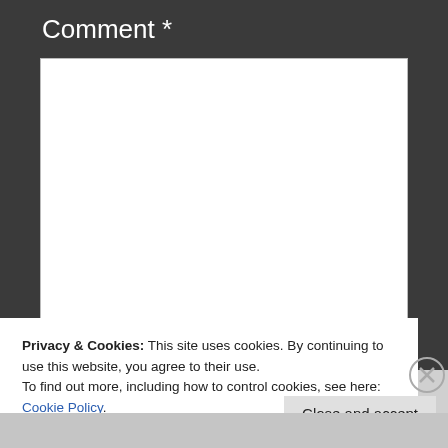Comment *
[Figure (screenshot): Empty white textarea input box for comment entry]
Privacy & Cookies: This site uses cookies. By continuing to use this website, you agree to their use.
To find out more, including how to control cookies, see here: Cookie Policy.
Close and accept